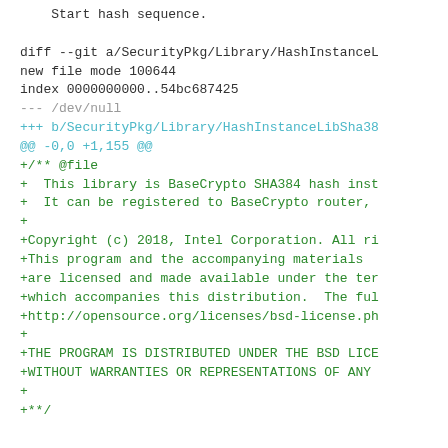Start hash sequence.

diff --git a/SecurityPkg/Library/HashInstanceL
new file mode 100644
index 0000000000..54bc687425
--- /dev/null
+++ b/SecurityPkg/Library/HashInstanceLibSha38
@@ -0,0 +1,155 @@
+/** @file
+  This library is BaseCrypto SHA384 hash inst
+  It can be registered to BaseCrypto router,
+
+Copyright (c) 2018, Intel Corporation. All ri
+This program and the accompanying materials
+are licensed and made available under the ter
+which accompanies this distribution.  The ful
+http://opensource.org/licenses/bsd-license.ph
+
+THE PROGRAM IS DISTRIBUTED UNDER THE BSD LICE
+WITHOUT WARRANTIES OR REPRESENTATIONS OF ANY
+
+**/